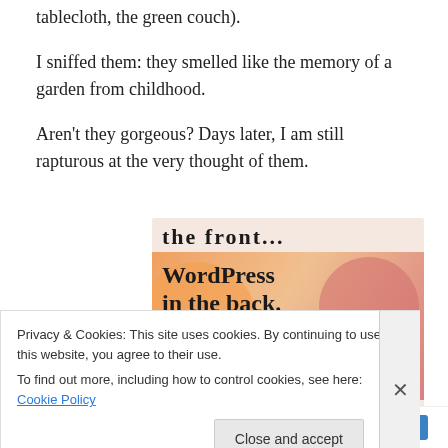tablecloth, the green couch).
I sniffed them: they smelled like the memory of a garden from childhood.
Aren't they gorgeous? Days later, I am still rapturous at the very thought of them.
[Figure (screenshot): Advertisement banner showing 'the front...' text at top and 'WordPress in the back.' text on an orange/pink gradient background with circular shapes]
Privacy & Cookies: This site uses cookies. By continuing to use this website, you agree to their use.
To find out more, including how to control cookies, see here: Cookie Policy
Close and accept